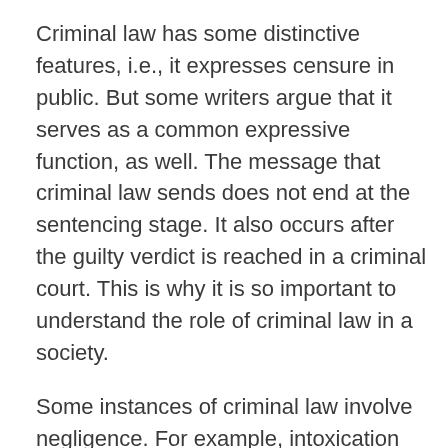Criminal law has some distinctive features, i.e., it expresses censure in public. But some writers argue that it serves as a common expressive function, as well. The message that criminal law sends does not end at the sentencing stage. It also occurs after the guilty verdict is reached in a criminal court. This is why it is so important to understand the role of criminal law in a society.
Some instances of criminal law involve negligence. For example, intoxication can be a defense for certain crimes. Only voluntarily intoxicated individuals can plead intoxicated. But an insane individual is not capable of forming the required mental state to commit the crime. A wrongful act is punishable by a monetary penalty. The legal system has made this possible. However, there is a gray area between criminal law and negligence.
There are many examples of criminal and civil law. Criminal law deals with violations of government rules,